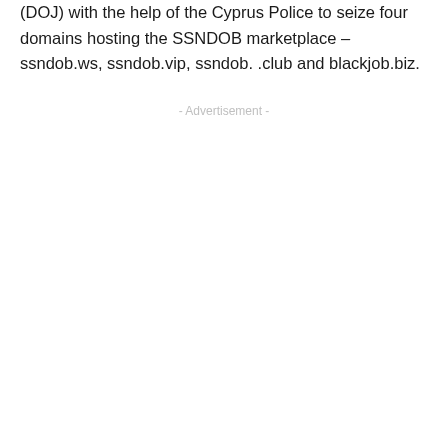(DOJ) with the help of the Cyprus Police to seize four domains hosting the SSNDOB marketplace – ssndob.ws, ssndob.vip, ssndob. .club and blackjob.biz.
- Advertisement -